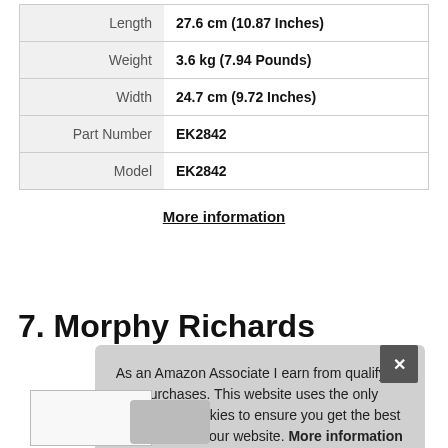| Length | 27.6 cm (10.87 Inches) |
| Weight | 3.6 kg (7.94 Pounds) |
| Width | 24.7 cm (9.72 Inches) |
| Part Number | EK2842 |
| Model | EK2842 |
More information
7. Morphy Richards
As an Amazon Associate I earn from qualifying purchases. This website uses the only necessary cookies to ensure you get the best experience on our website. More information